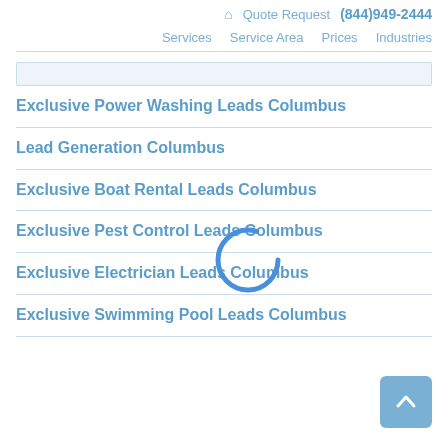🏠 Quote Request (844)949-2444 Services Service Area Prices Industries
Exclusive Power Washing Leads Columbus
Lead Generation Columbus
Exclusive Boat Rental Leads Columbus
Exclusive Pest Control Leads Columbus
Exclusive Electrician Leads Columbus
Exclusive Swimming Pool Leads Columbus
[Figure (other): Loading spinner circle animation overlay in the center of the page]
[Figure (other): Back to top button with upward chevron arrow, light blue square button in bottom right corner]